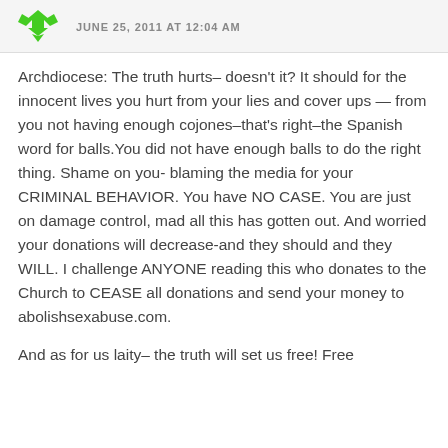JUNE 25, 2011 AT 12:04 AM
Archdiocese: The truth hurts– doesn't it? It should for the innocent lives you hurt from your lies and cover ups — from you not having enough cojones–that's right–the Spanish word for balls.You did not have enough balls to do the right thing. Shame on you- blaming the media for your CRIMINAL BEHAVIOR. You have NO CASE. You are just on damage control, mad all this has gotten out. And worried your donations will decrease-and they should and they WILL. I challenge ANYONE reading this who donates to the Church to CEASE all donations and send your money to abolishsexabuse.com.
And as for us laity– the truth will set us free! Free